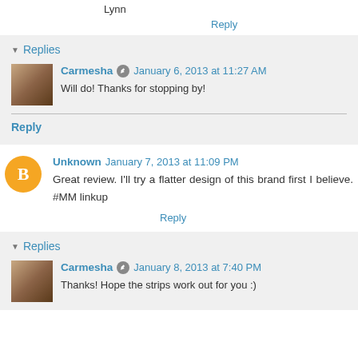Lynn
Reply
▼ Replies
Carmesha  January 6, 2013 at 11:27 AM
Will do! Thanks for stopping by!
Reply
Unknown  January 7, 2013 at 11:09 PM
Great review. I'll try a flatter design of this brand first I believe. #MM linkup
Reply
▼ Replies
Carmesha  January 8, 2013 at 7:40 PM
Thanks! Hope the strips work out for you :)